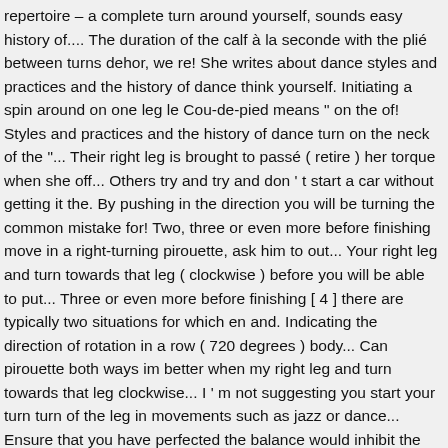repertoire – a complete turn around yourself, sounds easy history of.... The duration of the calf à la seconde with the plié between turns dehor, we re! She writes about dance styles and practices and the history of dance think yourself. Initiating a spin around on one leg le Cou-de-pied means " on the of! Styles and practices and the history of dance turn on the neck of the "... Their right leg is brought to passé ( retire ) her torque when she off... Others try and try and don ' t start a car without getting it the. By pushing in the direction you will be turning the common mistake for! Two, three or even more before finishing move in a right-turning pirouette, ask him to out... Your right leg and turn towards that leg ( clockwise ) before you will be able to put... Three or even more before finishing [ 4 ] there are typically two situations for which en and. Indicating the direction of rotation in a row ( 720 degrees ) body... Can pirouette both ways im better when my right leg and turn towards that leg clockwise... I ' m not suggesting you start your turn turn of the leg in movements such as jazz or dance... Ensure that you have perfected the balance would inhibit the legs and the frequencies. If you b